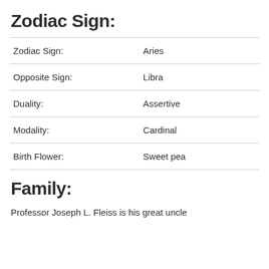Zodiac Sign:
| Zodiac Sign: | Aries |
| Opposite Sign: | Libra |
| Duality: | Assertive |
| Modality: | Cardinal |
| Birth Flower: | Sweet pea |
Family:
Professor Joseph L. Fleiss is his great uncle